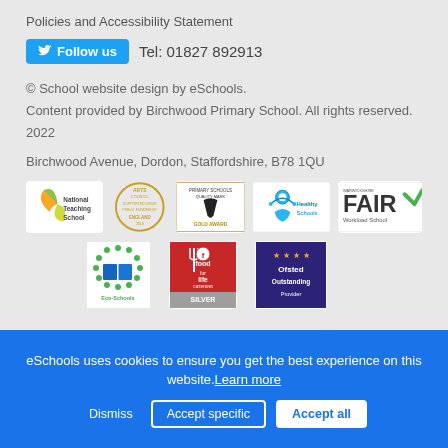Policies and Accessibility Statement
Follow us  Tel: 01827 892913
© School website design by eSchools.
Content provided by Birchwood Primary School. All rights reserved. 2022
Birchwood Avenue, Dordon, Staffordshire, B78 1QU
[Figure (logo): Row of school accreditation badges: National Teaching School, Arts Council England, Primary Quality Mark Gold Award, Healthy Schools, Warwickshire FAIR Workload School]
[Figure (logo): Row of school accreditation badges: Eco-Schools, Food for Life Silver, Ofsted Outstanding Provider]
eSchools uses cookies to ensure you get the best experience on this website. Learn more
Dismiss  Accept specific  Accept all